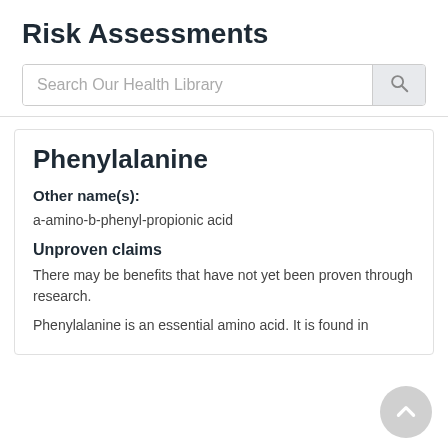Risk Assessments
[Figure (other): Search bar with placeholder text 'Search Our Health Library' and a search button icon]
Phenylalanine
Other name(s):
a-amino-b-phenyl-propionic acid
Unproven claims
There may be benefits that have not yet been proven through research.
Phenylalanine is an essential amino acid. It is found in high-protein foods, alt…